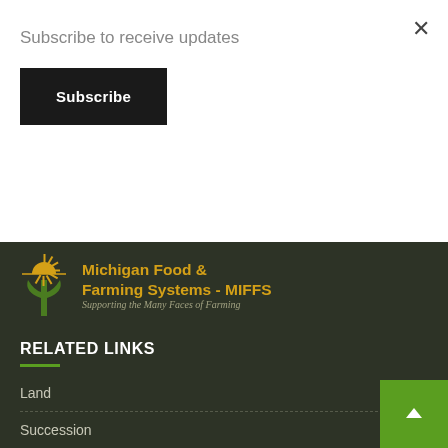Subscribe to receive updates
Subscribe
[Figure (logo): Michigan Food & Farming Systems - MIFFS logo with stylized wheat/sun graphic and tagline 'Supporting the Many Faces of Farming']
RELATED LINKS
Land
Succession